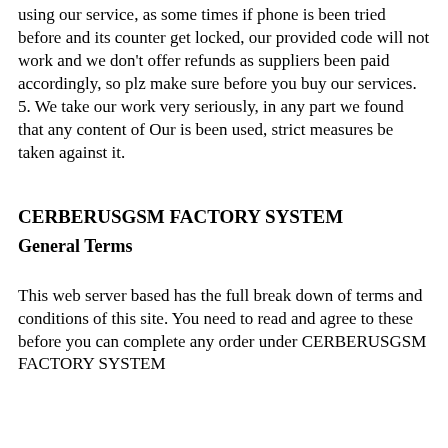using our service, as some times if phone is been tried before and its counter get locked, our provided code will not work and we don't offer refunds as suppliers been paid accordingly, so plz make sure before you buy our services.
5. We take our work very seriously, in any part we found that any content of Our is been used, strict measures be taken against it.
CERBERUSGSM FACTORY SYSTEM
General Terms
This web server based has the full break down of terms and conditions of this site. You need to read and agree to these before you can complete any order under CERBERUSGSM FACTORY SYSTEM